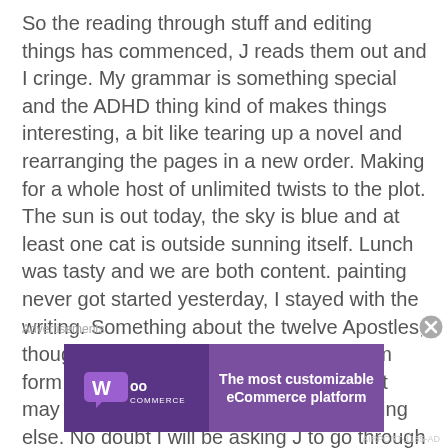So the reading through stuff and editing things has commenced, J reads them out and I cringe. My grammar is something special and the ADHD thing kind of makes things interesting, a bit like tearing up a novel and rearranging the pages in a new order. Making for a whole host of unlimited twists to the plot. The sun is out today, the sky is blue and at least one cat is outside sunning itself. Lunch was tasty and we are both content. painting never got started yesterday, I stayed with the writing. Something about the twelve Apostles, though whether it stays in it’s current form form for much longer is questionable as it may well end up being utilised in something else. No doubt I will be asking J to go through stuff, correcting
Advertisements
[Figure (other): WooCommerce advertisement banner with purple background. Left side shows WooCommerce logo on dark purple background. Right side shows text: The most customizable eCommerce platform]